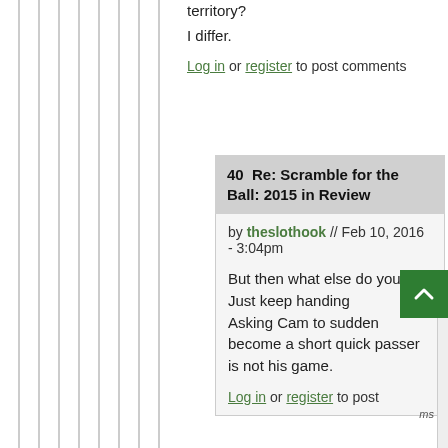territory?
I differ.
Log in or register to post comments
40  Re: Scramble for the Ball: 2015 in Review
by theslothook // Feb 10, 2016 - 3:04pm
But then what else do you do? Just keep handing Asking Cam to suddenly become a short quick passer is not his game.
Log in or register to post